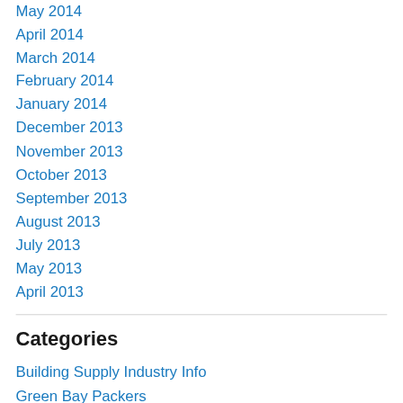May 2014
April 2014
March 2014
February 2014
January 2014
December 2013
November 2013
October 2013
September 2013
August 2013
July 2013
May 2013
April 2013
Categories
Building Supply Industry Info
Green Bay Packers
Inspiration
Photos are The Darndest Things